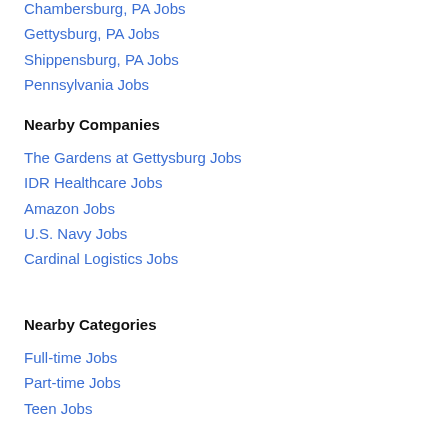Chambersburg, PA Jobs
Gettysburg, PA Jobs
Shippensburg, PA Jobs
Pennsylvania Jobs
Nearby Companies
The Gardens at Gettysburg Jobs
IDR Healthcare Jobs
Amazon Jobs
U.S. Navy Jobs
Cardinal Logistics Jobs
Nearby Categories
Full-time Jobs
Part-time Jobs
Teen Jobs